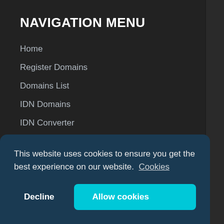NAVIGATION MENU
Home
Register Domains
Domains List
IDN Domains
IDN Converter
New Top Level Domains
Prices
Domain Quote
Services
This website uses cookies to ensure you get the best experience on our website. Cookies
Decline   Allow cookies